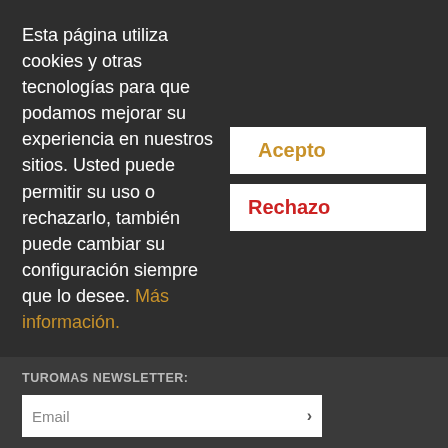Esta página utiliza cookies y otras tecnologías para que podamos mejorar su experiencia en nuestros sitios. Usted puede permitir su uso o rechazarlo, también puede cambiar su configuración siempre que lo desee. Más información.
Acepto
Rechazo
TUROMAS NEWSLETTER:
Email
SALES CONTACT
+34 978 804 158
info@turomas.com
[Figure (logo): WhatsApp green rounded square icon with white phone handset outline]